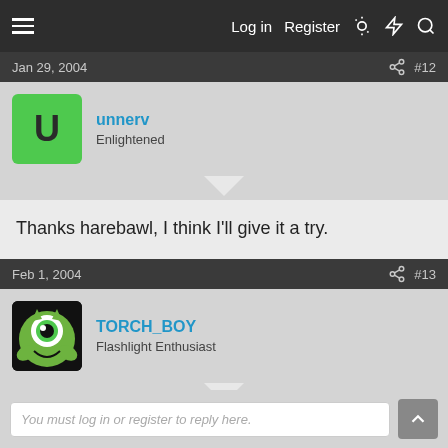Log in   Register
Jan 29, 2004  #12
unnerv
Enlightened
Thanks harebawl, I think I'll give it a try.
Feb 1, 2004  #13
TORCH_BOY
Flashlight Enthusiast
Lux III Direct Drive Ouch!
You must log in or register to reply here.